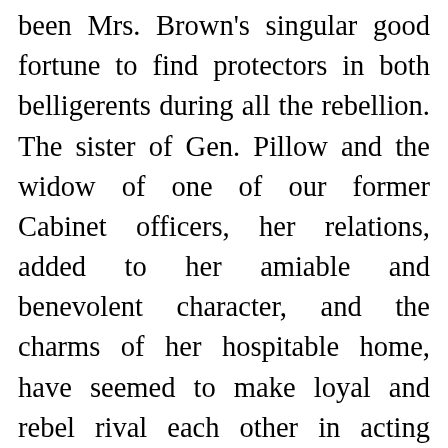been Mrs. Brown's singular good fortune to find protectors in both belligerents during all the rebellion. The sister of Gen. Pillow and the widow of one of our former Cabinet officers, her relations, added to her amiable and benevolent character, and the charms of her hospitable home, have seemed to make loyal and rebel rival each other in acting toward her the part of friends and guardians. Mrs. Ackland's house, also, one of the most elegant in Nashville, situated just within our lines, and the headquarters of Gen. Wood during the battle of the 15th and 16th of December, enjoyed similar immunity. Some